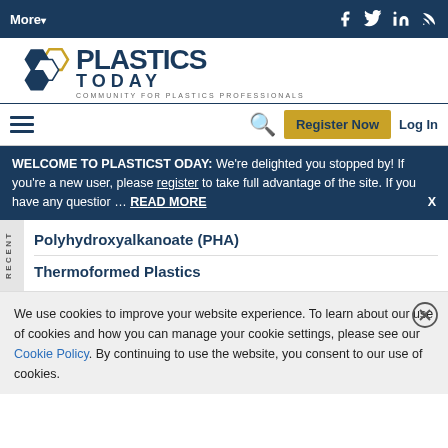More▾  [social icons: Facebook, Twitter, LinkedIn, RSS]
[Figure (logo): Plastics Today logo with hexagon graphic and tagline COMMUNITY FOR PLASTICS PROFESSIONALS]
Register Now   Log In  [search icon] [hamburger menu]
WELCOME TO PLASTICST ODAY: We're delighted you stopped by! If you're a new user, please register to take full advantage of the site. If you have any questior ... READ MORE  X
Polyhydroxyalkanoate (PHA)
Thermoformed Plastics
We use cookies to improve your website experience. To learn about our use of cookies and how you can manage your cookie settings, please see our Cookie Policy. By continuing to use the website, you consent to our use of cookies.